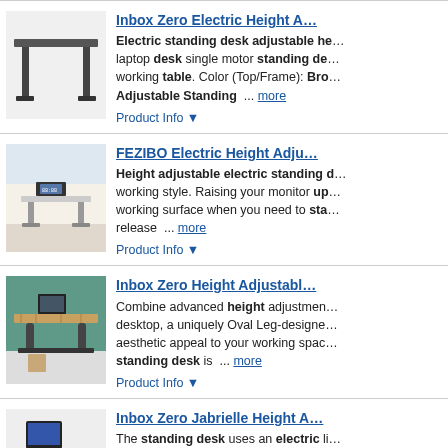[Figure (photo): Product image of Inbox Zero electric standing desk with black frame, minimal top surface]
Inbox Zero Electric Height A... Electric standing desk adjustable he... laptop desk single motor standing de... working table. Color (Top/Frame): Bro... Adjustable Standing ... more
Product Info ▼
[Figure (photo): Product image of FEZIBO electric height adjustable standing desk in a room setting]
FEZIBO Electric Height Adju... Height adjustable electric standing ... working style. Raising your monitor up... working surface when you need to sta... release ... more
Product Info ▼
[Figure (photo): Product image of Inbox Zero height adjustable standing desk with wooden top and black oval legs]
Inbox Zero Height Adjustabl... Combine advanced height adjustment... desktop, a uniquely Oval Leg-designe... aesthetic appeal to your working spac... standing desk is ... more
Product Info ▼
[Figure (photo): Product image of Inbox Zero Jabrielle height adjustable desk with rustic top and monitor on it]
Inbox Zero Jabrielle Height A... The standing desk uses an electric li... mechanical structure ensures the tabl... synchronously while achieving a load-... (Top/Frame): Rustic ... more
Product Info ▼